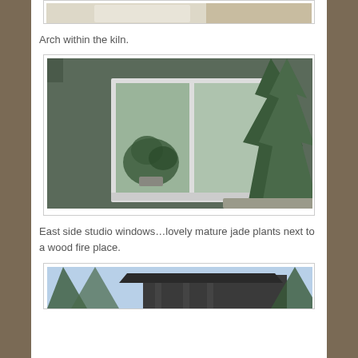[Figure (photo): Partial view of a photo at top of page, showing what appears to be a workspace or kiln interior]
Arch within the kiln.
[Figure (photo): Exterior photo of a building with dark green/grey stucco walls, showing large white-framed double windows with jade plants visible inside on the windowsill, and tall evergreen trees to the right]
East side studio windows…lovely mature jade plants next to a wood fire place.
[Figure (photo): Partial view at bottom of page showing a building exterior with dark roof/eaves structure and tall conifer trees against a light sky]